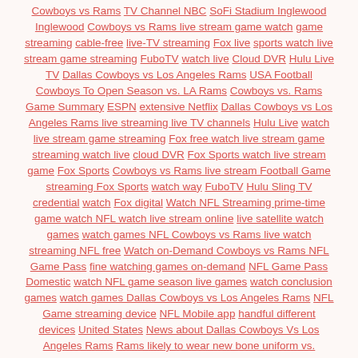Cowboys vs Rams TV Channel NBC SoFi Stadium Inglewood Inglewood Cowboys vs Rams live stream game watch game streaming cable-free live-TV streaming Fox live sports watch live stream game streaming FuboTV watch live Cloud DVR Hulu Live TV Dallas Cowboys vs Los Angeles Rams USA Football Cowboys To Open Season vs. LA Rams Cowboys vs. Rams Game Summary ESPN extensive Netflix Dallas Cowboys vs Los Angeles Rams live streaming live TV channels Hulu Live watch live stream game streaming Fox free watch live stream game streaming watch live cloud DVR Fox Sports watch live stream game Fox Sports Cowboys vs Rams live stream Football Game streaming Fox Sports watch way FuboTV Hulu Sling TV credential watch Fox digital Watch NFL Streaming prime-time game watch NFL watch live stream online live satellite watch games watch games NFL Cowboys vs Rams live watch streaming NFL free Watch on-Demand Cowboys vs Rams NFL Game Pass fine watching games on-demand NFL Game Pass Domestic watch NFL game season live games watch conclusion games watch games Dallas Cowboys vs Los Angeles Rams NFL Game streaming device NFL Mobile app handful different devices United States News about Dallas Cowboys Vs Los Angeles Rams Rams likely to wear new bone uniform vs. Cowboys in Week 1 Dallas Cowboys vs Los Angeles Rams Rams vs Cowboys Highlights Rams vs. Dallas Cowboys LIVE Los Angeles Rams - Dallas Cowboys - NFL Dallas Cowboys vs. Los Angeles Rams Results